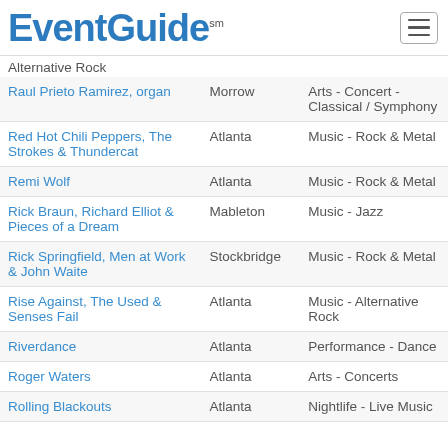EventGuide℠
| Event | City | Category |
| --- | --- | --- |
|  |  | Alternative Rock |
| Raul Prieto Ramirez, organ | Morrow | Arts - Concert - Classical / Symphony |
| Red Hot Chili Peppers, The Strokes & Thundercat | Atlanta | Music - Rock & Metal |
| Remi Wolf | Atlanta | Music - Rock & Metal |
| Rick Braun, Richard Elliot & Pieces of a Dream | Mableton | Music - Jazz |
| Rick Springfield, Men at Work & John Waite | Stockbridge | Music - Rock & Metal |
| Rise Against, The Used & Senses Fail | Atlanta | Music - Alternative Rock |
| Riverdance | Atlanta | Performance - Dance |
| Roger Waters | Atlanta | Arts - Concerts |
| Rolling Blackouts | Atlanta | Nightlife - Live Music |